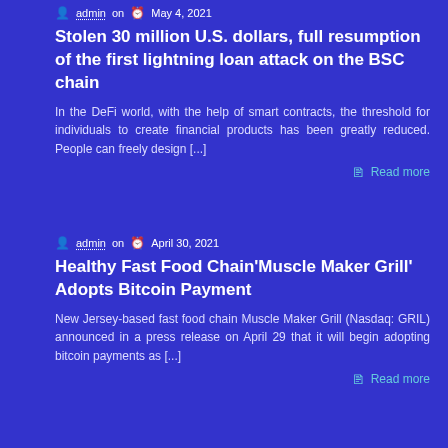admin on  May 4, 2021
Stolen 30 million U.S. dollars, full resumption of the first lightning loan attack on the BSC chain
In the DeFi world, with the help of smart contracts, the threshold for individuals to create financial products has been greatly reduced. People can freely design [...]
Read more
admin on  April 30, 2021
Healthy Fast Food Chain'Muscle Maker Grill' Adopts Bitcoin Payment
New Jersey-based fast food chain Muscle Maker Grill (Nasdaq: GRIL) announced in a press release on April 29 that it will begin adopting bitcoin payments as [...]
Read more